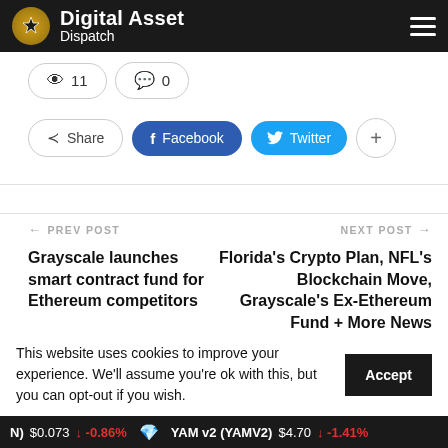Digital Asset Dispatch
👁 11  💬 0
Share  Facebook  Twitter  +
← PREV POST
Grayscale launches smart contract fund for Ethereum competitors
NEXT POST →
Florida's Crypto Plan, NFL's Blockchain Move, Grayscale's Ex-Ethereum Fund + More News
This website uses cookies to improve your experience. We'll assume you're ok with this, but you can opt-out if you wish.   Accept
N) $0.073 ↓ -0.86%   YAM v2 (YAMV2) $4.70 ↓ -1.41%